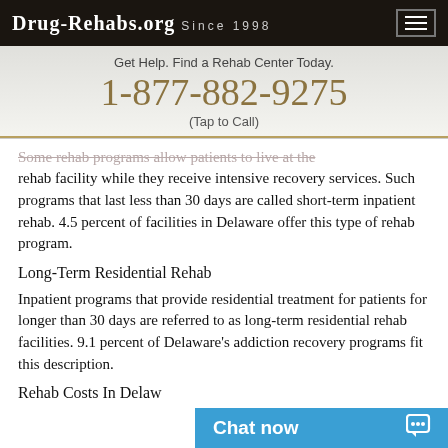DRUG-REHABS.ORG SINCE 1998
Get Help. Find a Rehab Center Today.
1-877-882-9275
(Tap to Call)
Some rehab programs allow patients to live at the rehab facility while they receive intensive recovery services. Such programs that last less than 30 days are called short-term inpatient rehab. 4.5 percent of facilities in Delaware offer this type of rehab program.
Long-Term Residential Rehab
Inpatient programs that provide residential treatment for patients for longer than 30 days are referred to as long-term residential rehab facilities. 9.1 percent of Delaware's addiction recovery programs fit this description.
Rehab Costs In Delaw...
Chat now